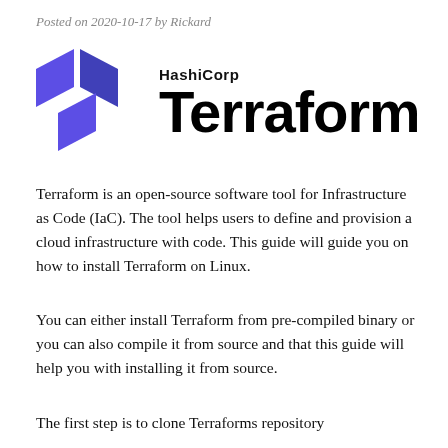Posted on 2020-10-17 by Rickard
[Figure (logo): HashiCorp Terraform logo: blue geometric T-shape icon on the left, with 'HashiCorp' in bold above 'Terraform' in large bold black text on the right.]
Terraform is an open-source software tool for Infrastructure as Code (IaC). The tool helps users to define and provision a cloud infrastructure with code. This guide will guide you on how to install Terraform on Linux.
You can either install Terraform from pre-compiled binary or you can also compile it from source and that this guide will help you with installing it from source.
The first step is to clone Terraforms repository